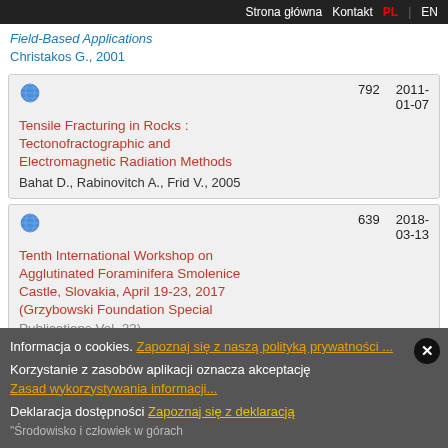Strona główna   Kontakt   PL | EN
Field-Based Applications
Christakos G., 2001
Tensile Fracturing in Rocks : Tectonofractographic and Electromagnetic Radiation Methods
Bahat D., Rabinovitch A., Frid V., 2005
792   2011-01-07
Tenth International Workshop on Agglutinated Foraminifera Smolenice Castle, Slovakia, April 19-23, 2017 (Grzybowski Foundation Special Publications Vol. 23)
639   2018-03-13
Informacja o cookies. Zapoznaj się z naszą polityką prywatności ...
Korzystanie z zasobów aplikacji oznacza akceptację Zasad wykorzystywania informacji...
Deklaracja dostępności Zapoznaj się z deklaracją
"Środowisko i człowiek w górach
937   2010-12-10